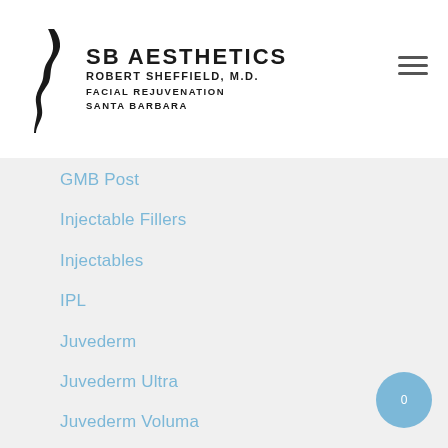SB AESTHETICS ROBERT SHEFFIELD, M.D. FACIAL REJUVENATION SANTA BARBARA
GMB Post
Injectable Fillers
Injectables
IPL
Juvederm
Juvederm Ultra
Juvederm Voluma
Kybella
Laser
Laser Hair Removal
Latisse
Lip Augmentation
Lip Enhancement